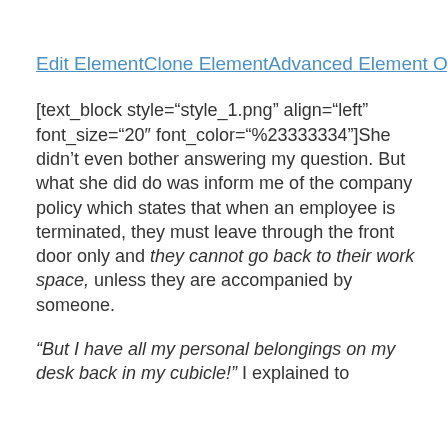Edit ElementClone ElementAdvanced Element OptionsMoveRemove Element
[text_block style="style_1.png" align="left" font_size="20″ font_color="%23333334"]She didn’t even bother answering my question. But what she did do was inform me of the company policy which states that when an employee is terminated, they must leave through the front door only and they cannot go back to their work space, unless they are accompanied by someone.
“But I have all my personal belongings on my desk back in my cubicle!” I explained to